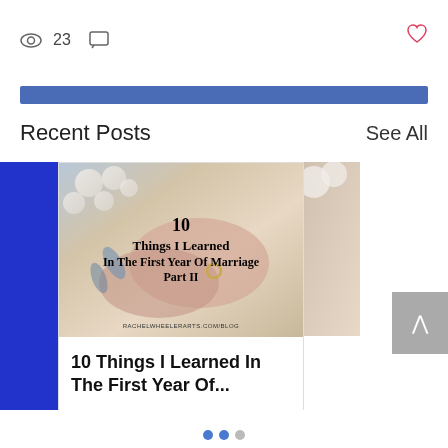23 views, 0 comments, heart icon
[Figure (other): Blue horizontal stripe divider]
Recent Posts
See All
[Figure (photo): Blog post card with wedding photo showing hands with rings and flowers. Overlay text: '10 Things I Learned In The First Year Of Marriage Part II' and URL 'rachelwheelerarts.com/blog'. Card title: '10 Things I Learned In The First Year Of...'. Stats: 35 views, 0 comments.]
10 Things I Learned In The First Year Of...
35  0